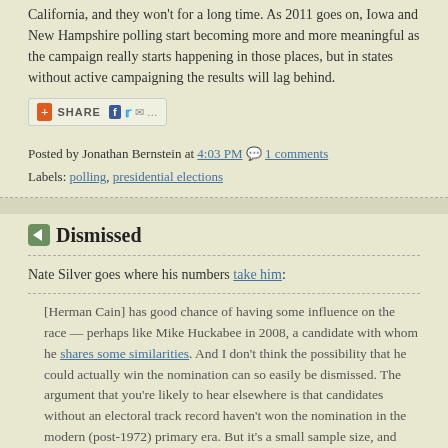California, and they won't for a long time. As 2011 goes on, Iowa and New Hampshire polling start becoming more and more meaningful as the campaign really starts happening in those places, but in states without active campaigning the results will lag behind.
[Figure (other): Share button bar with Facebook, Twitter, and email icons]
Posted by Jonathan Bernstein at 4:03 PM  1 comments
Labels: polling, presidential elections
Dismissed
Nate Silver goes where his numbers take him:
[Herman Cain] has good chance of having some influence on the race — perhaps like Mike Huckabee in 2008, a candidate with whom he shares some similarities. And I don't think the possibility that he could actually win the nomination can so easily be dismissed. The argument that you're likely to hear elsewhere is that candidates without an electoral track record haven't won the nomination in the modern (post-1972) primary era. But it's a small sample size, and some or another precedent is broken in nearly every election cycle.
I'm going to spend a little time on this, because it gets at several important things about the process. First, to Silver's credit, he's right about one thing: finding simple patterns in the postreform era is a